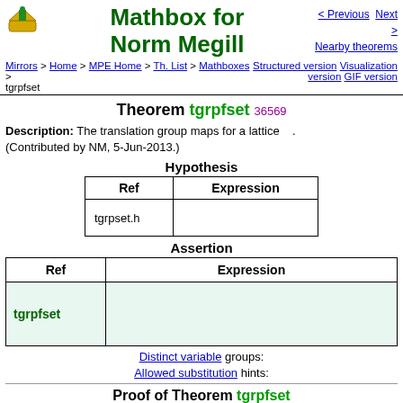Mathbox for Norm Megill
< Previous  Next >  Nearby theorems
Mirrors > Home > MPE Home > Th. List > Mathboxes > tgrpfset   Structured version  Visualization version  GIF version
Theorem tgrpfset 36569
Description: The translation group maps for a lattice . (Contributed by NM, 5-Jun-2013.)
Hypothesis
| Ref | Expression |
| --- | --- |
| tgrpset.h |  |
Assertion
| Ref | Expression |
| --- | --- |
| tgrpfset |  |
Distinct variable groups:
Allowed substitution hints:
Proof of Theorem tgrpfset
Dummy variable is distinct from all other variables.